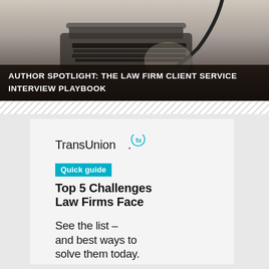[Figure (photo): Black and white photograph of a vintage typewriter with a desk lamp in the background]
AUTHOR SPOTLIGHT: THE LAW FIRM CLIENT SERVICE INTERVIEW PLAYBOOK
[Figure (logo): TransUnion logo with 'tu' circle badge]
Quick guide
Top 5 Challenges Law Firms Face
See the list – and best ways to solve them today.